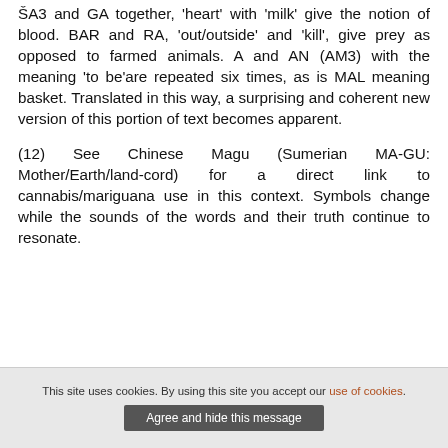ŠA3 and GA together, ‘heart’ with ‘milk’ give the notion of blood. BAR and RA, ‘out/outside’ and ‘kill’, give prey as opposed to farmed animals. A and AN (AM3) with the meaning ‘to be’are repeated six times, as is MAL meaning basket. Translated in this way, a surprising and coherent new version of this portion of text becomes apparent.
(12) See Chinese Magu (Sumerian MA-GU: Mother/Earth/land-cord) for a direct link to cannabis/mariguana use in this context. Symbols change while the sounds of the words and their truth continue to resonate.
This site uses cookies. By using this site you accept our use of cookies. Agree and hide this message